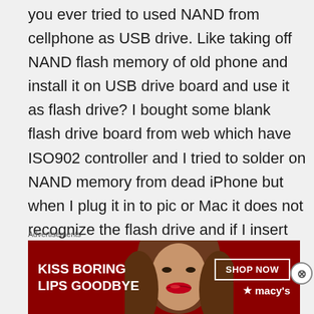you ever tried to used NAND from cellphone as USB drive. Like taking off NAND flash memory of old phone and install it on USB drive board and use it as flash drive? I bought some blank flash drive board from web which have ISO902 controller and I tried to solder on NAND memory from dead iPhone but when I plug it in to pic or Mac it does not recognize the flash drive and if I insert flash drive without NAND chip soldered it recognizes the flash drive but since no nand
Advertisements
[Figure (other): Advertisement banner for Macy's lipstick with text 'KISS BORING LIPS GOODBYE' and a 'SHOP NOW' button with Macy's star logo, featuring a woman's face]